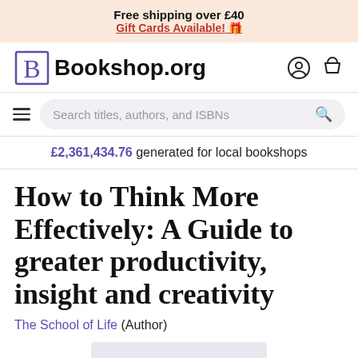Free shipping over £40
Gift Cards Available! 🎁
[Figure (logo): Bookshop.org logo with stylized B and site name, plus user and cart icons]
Search titles, authors, and ISBNs
£2,361,434.76 generated for local bookshops
How to Think More Effectively: A Guide to greater productivity, insight and creativity
The School of Life (Author)